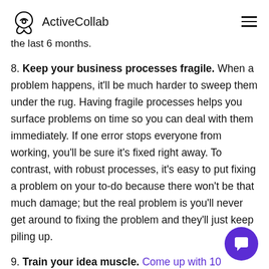ActiveCollab
the last 6 months.
8. Keep your business processes fragile. When a problem happens, it'll be much harder to sweep them under the rug. Having fragile processes helps you surface problems on time so you can deal with them immediately. If one error stops everyone from working, you'll be sure it's fixed right away. To contrast, with robust processes, it's easy to put fixing a problem on your to-do because there won't be that much damage; but the real problem is you'll never get around to fixing the problem and they'll just keep piling up.
9. Train your idea muscle. Come up with 10 business ideas each day. They can be